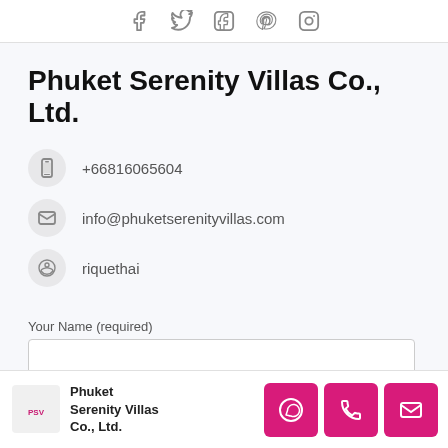[Figure (other): Social media icons: Facebook, Twitter, LinkedIn, Pinterest, Instagram]
Phuket Serenity Villas Co., Ltd.
+66816065604
info@phuketserenityvillas.com
riquethai
Your Name (required)
Your Email (required)
Phuket Serenity Villas Co., Ltd. — footer with WhatsApp, phone, email buttons